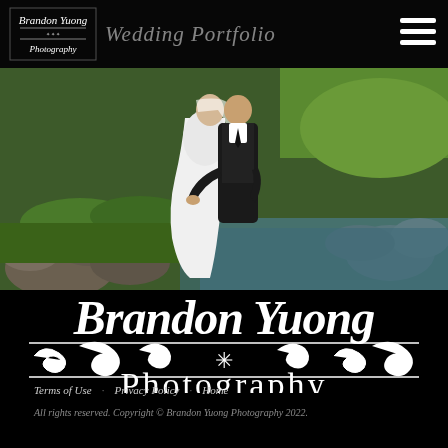Brandon Yuong Photography — Wedding Portfolio
[Figure (photo): Wedding couple embracing outdoors near rocks and water, bride in white dress, groom in black suit]
[Figure (logo): Brandon Yuong Photography large white logo on black background, decorative script text with ornamental divider]
Terms of Use   Privacy Policy   Home
All rights reserved. Copyright © Brandon Yuong Photography 2022.